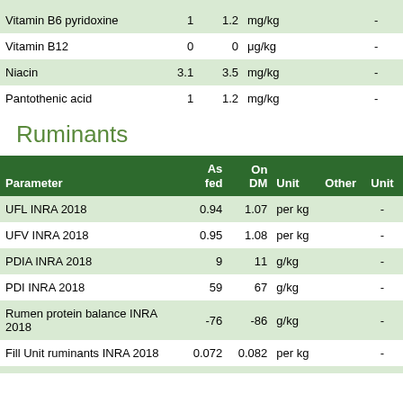| Parameter | As fed | On DM | Unit | Other | Unit |
| --- | --- | --- | --- | --- | --- |
| Vitamin B6 pyridoxine | 1 | 1.2 | mg/kg | - |  |
| Vitamin B12 | 0 | 0 | μg/kg | - |  |
| Niacin | 3.1 | 3.5 | mg/kg | - |  |
| Pantothenic acid | 1 | 1.2 | mg/kg | - |  |
Ruminants
| Parameter | As fed | On DM | Unit | Other | Unit |
| --- | --- | --- | --- | --- | --- |
| UFL INRA 2018 | 0.94 | 1.07 | per kg | - |  |
| UFV INRA 2018 | 0.95 | 1.08 | per kg | - |  |
| PDIA INRA 2018 | 9 | 11 | g/kg | - |  |
| PDI INRA 2018 | 59 | 67 | g/kg | - |  |
| Rumen protein balance INRA 2018 | -76 | -86 | g/kg | - |  |
| Fill Unit ruminants INRA 2018 | 0.072 | 0.082 | per kg | - |  |